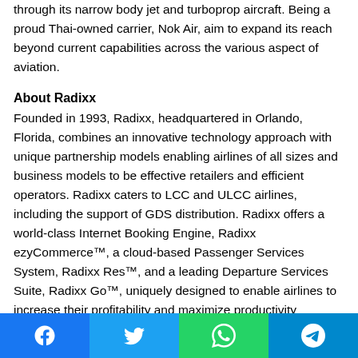through its narrow body jet and turboprop aircraft. Being a proud Thai-owned carrier, Nok Air, aim to expand its reach beyond current capabilities across the various aspect of aviation.
About Radixx
Founded in 1993, Radixx, headquartered in Orlando, Florida, combines an innovative technology approach with unique partnership models enabling airlines of all sizes and business models to be effective retailers and efficient operators. Radixx caters to LCC and ULCC airlines, including the support of GDS distribution. Radixx offers a world-class Internet Booking Engine, Radixx ezyCommerce™, a cloud-based Passenger Services System, Radixx Res™, and a leading Departure Services Suite, Radixx Go™, uniquely designed to enable airlines to increase their profitability and maximize productivity
[Figure (other): Social sharing bar with Facebook, Twitter, WhatsApp, and Telegram buttons]